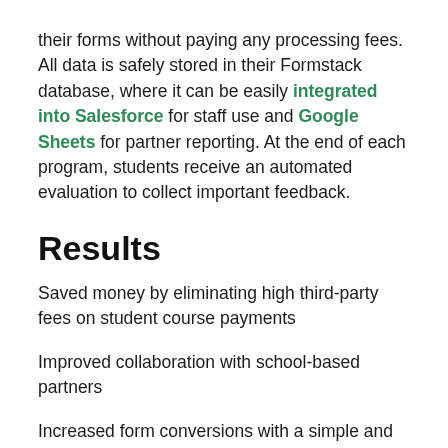their forms without paying any processing fees. All data is safely stored in their Formstack database, where it can be easily integrated into Salesforce for staff use and Google Sheets for partner reporting. At the end of each program, students receive an automated evaluation to collect important feedback.
Results
Saved money by eliminating high third-party fees on student course payments
Improved collaboration with school-based partners
Increased form conversions with a simple and smooth process